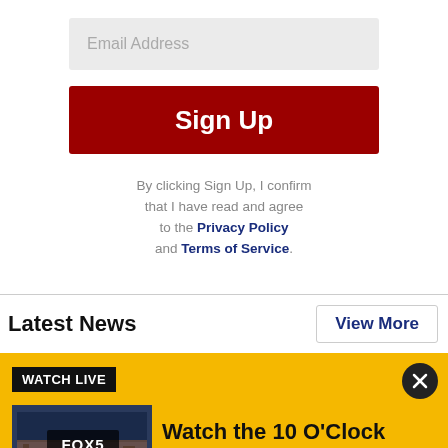Email Address
Sign Up
By clicking Sign Up, I confirm that I have read and agree to the Privacy Policy and Terms of Service.
Latest News
View More
WATCH LIVE
[Figure (screenshot): FOX 5 New York logo over a skyline image thumbnail]
Watch the 10 O'Clock News